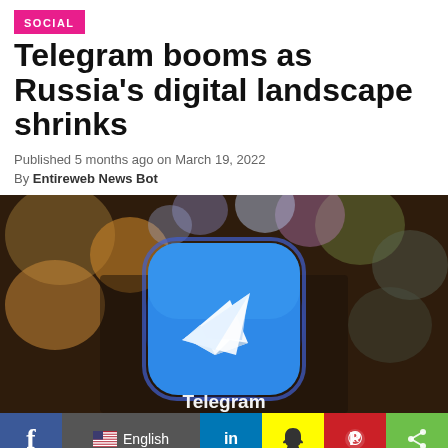SOCIAL
Telegram booms as Russia's digital landscape shrinks
Published 5 months ago on March 19, 2022
By Entireweb News Bot
[Figure (photo): Close-up blurred photo of a smartphone screen showing the Telegram app icon — a blue rounded square with a white paper plane logo, and the word 'Telegram' displayed below the icon]
Social sharing bar: Facebook, English language selector, LinkedIn, Snapchat, Pinterest, Share